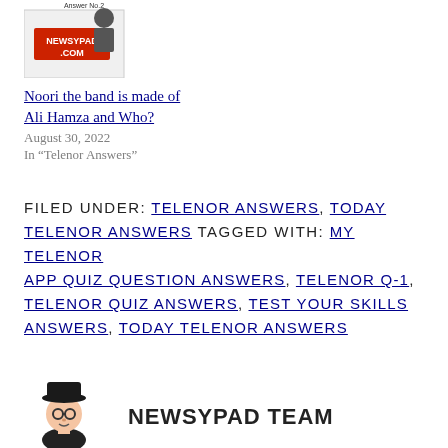[Figure (illustration): Thumbnail image with NEWSYPAD.COM logo/branding and a person graphic, labeled 'Answer No.2']
Noori the band is made of Ali Hamza and Who?
August 30, 2022
In “Telenor Answers”
FILED UNDER: TELENOR ANSWERS, TODAY TELENOR ANSWERS TAGGED WITH: MY TELENOR APP QUIZ QUESTION ANSWERS, TELENOR Q-1, TELENOR QUIZ ANSWERS, TEST YOUR SKILLS ANSWERS, TODAY TELENOR ANSWERS
[Figure (illustration): Cartoon avatar of a person wearing glasses and a hat, representing 'NEWSYPAD TEAM' author]
NEWSYPAD TEAM